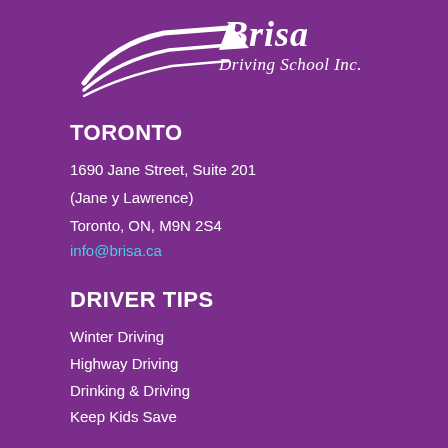[Figure (logo): Brisa Driving School Inc. logo with stylized white swoosh/speed lines on purple background and italic white text 'Brisa Driving School Inc.']
TORONTO
1690 Jane Street, Suite 201
(Jane y Lawrence)
Toronto, ON, M9N 2S4
info@brisa.ca
DRIVER TIPS
Winter Driving
Highway Driving
Drinking & Driving
Keep Kids Save
TEST
Help with your Test